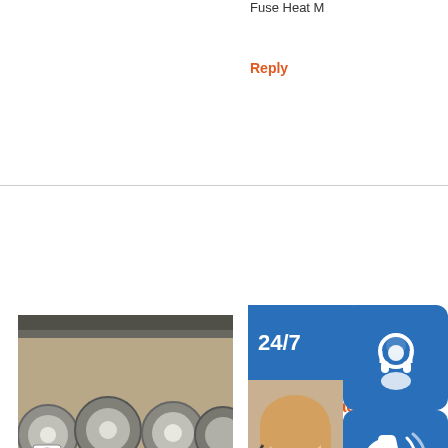Fuse Heat M
Reply
[Figure (photo): Industrial rolls of stainless steel coils stacked in a warehouse or factory setting]
High Quality Stainless Steel Cable Tray Forming Machine
GI Stainless Steel Cladding Cable Tray Manufacturing High quality GI Stainless Steel Cladding Cable Tray...
Reply
[Figure (infographic): Customer service overlay widgets: 24/7 panel, headset icon, agent photo with woman wearing headset, phone icon, Skype icon, PROVIDE Empowering Customers banner, and online live button]